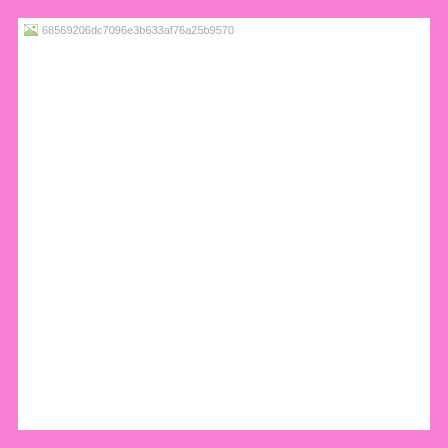[Figure (other): Broken image placeholder showing filename 68569206dc7096e3b633af76a25b9570 on a white page with pink border]